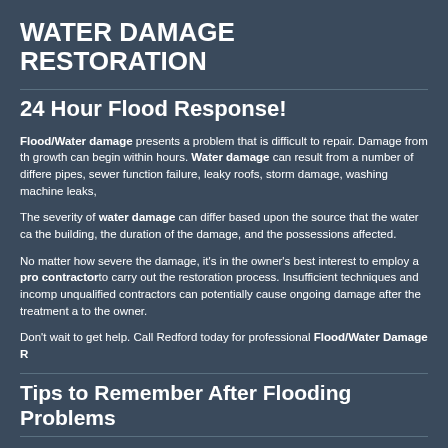WATER DAMAGE RESTORATION
24 Hour Flood Response!
Flood/Water damage presents a problem that is difficult to repair. Damage from th growth can begin within hours. Water damage can result from a number of differe pipes, sewer function failure, leaky roofs, storm damage, washing machine leaks,
The severity of water damage can differ based upon the source that the water ca the building, the duration of the damage, and the possessions affected.
No matter how severe the damage, it's in the owner's best interest to employ a pro contractorto carry out the restoration process. Insufficient techniques and incom unqualified contractors can potentially cause ongoing damage after the treatment to the owner.
Don't wait to get help. Call Redford today for professional Flood/Water Damage R
Tips to Remember After Flooding Problems
DO
Wash your hands properly if you have been in contact with flood water or silt. Take preparing or eating food.